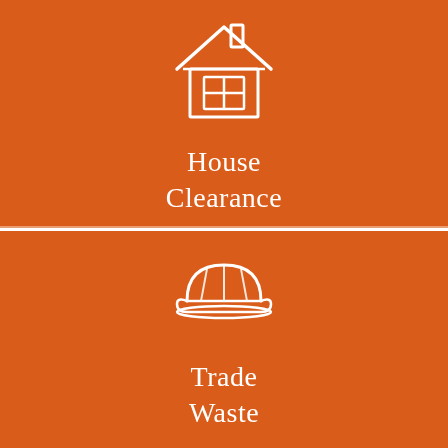[Figure (illustration): House icon (outline of a house with chimney and window grid) on orange background, with label 'House Clearance' below]
[Figure (illustration): Hard hat / construction helmet icon on orange background, with label 'Trade Waste' below]